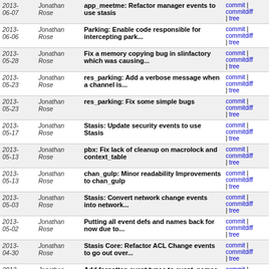| Date | Author | Message | Links |
| --- | --- | --- | --- |
| 2013-06-07 | Jonathan Rose | app_meetme: Refactor manager events to use stasis | commit | commitdiff | tree |
| 2013-06-06 | Jonathan Rose | Parking: Enable code responsible for intercepting park... | commit | commitdiff | tree |
| 2013-05-28 | Jonathan Rose | Fix a memory copying bug in slinfactory which was causing... | commit | commitdiff | tree |
| 2013-05-23 | Jonathan Rose | res_parking: Add a verbose message when a channel is... | commit | commitdiff | tree |
| 2013-05-23 | Jonathan Rose | res_parking: Fix some simple bugs | commit | commitdiff | tree |
| 2013-05-17 | Jonathan Rose | Stasis: Update security events to use Stasis | commit | commitdiff | tree |
| 2013-05-13 | Jonathan Rose | pbx: Fix lack of cleanup on macrolock and context_table | commit | commitdiff | tree |
| 2013-05-13 | Jonathan Rose | chan_gulp: Minor readability Improvements to chan_gulp | commit | commitdiff | tree |
| 2013-05-03 | Jonathan Rose | Stasis: Convert network change events into network... | commit | commitdiff | tree |
| 2013-05-02 | Jonathan Rose | Putting all event defs and names back for now due to... | commit | commitdiff | tree |
| 2013-04-30 | Jonathan Rose | Stasis Core: Refactor ACL Change events to go out over... | commit | commitdiff | tree |
| 2013-04-30 | Jonathan Rose | Add forgotten event types to event_names array | commit | commitdiff | tree |
| 2013-03-29 | Jonathan Rose | app_voicemail: Add blank argument to externnotify if... | commit | commitdiff | tree |
| 2013-... | Jonathan | chan_sip: Update the via header when... | commit |